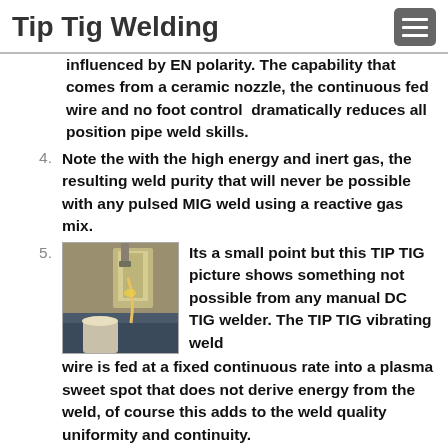Tip Tig Welding
influenced by EN polarity. The capability that comes from a ceramic nozzle, the continuous fed wire and no foot control dramatically reduces all position pipe weld skills.
4. Note the with the high energy and inert gas, the resulting weld purity that will never be possible with any pulsed MIG weld using a reactive gas mix.
5. Its a small point but this TIP TIG picture shows something not possible from any manual DC TIG welder. The TIP TIG vibrating weld wire is fed at a fixed continuous rate into a plasma sweet spot that does not derive energy from the weld, of course this adds to the weld quality uniformity and continuity.
[Figure (photo): Photo of TIP TIG welding in progress showing a welding torch near metal plates with a glowing weld area]